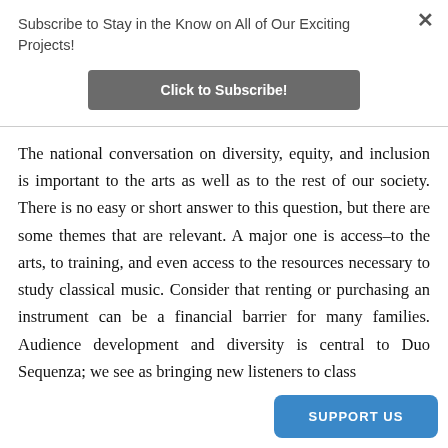Subscribe to Stay in the Know on All of Our Exciting Projects!
[Figure (other): Gray button labeled 'Click to Subscribe!']
The national conversation on diversity, equity, and inclusion is important to the arts as well as to the rest of our society. There is no easy or short answer to this question, but there are some themes that are relevant. A major one is access–to the arts, to training, and even access to the resources necessary to study classical music. Consider that renting or purchasing an instrument can be a financial barrier for many families. Audience development and diversity is central to Duo Sequenza; we see as bringing new listeners to class
[Figure (other): Blue 'SUPPORT US' button in bottom right corner]